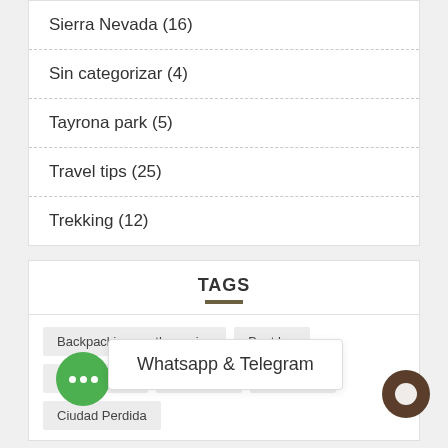Sierra Nevada (16)
Sin categorizar (4)
Tayrona park (5)
Travel tips (25)
Trekking (12)
TAGS
Backpacking southamerica
Best b...
...o de la vela
cartagena
cartagena
Ciudad Perdida
Whatsapp & Telegram